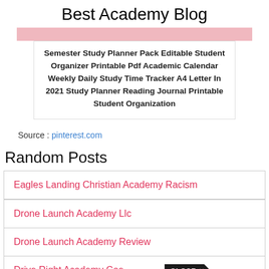Best Academy Blog
[Figure (other): Pink decorative bar]
Semester Study Planner Pack Editable Student Organizer Printable Pdf Academic Calendar Weekly Daily Study Time Tracker A4 Letter In 2021 Study Planner Reading Journal Printable Student Organization
Source : pinterest.com
Random Posts
Eagles Landing Christian Academy Racism
Drone Launch Academy Llc
Drone Launch Academy Review
Drive Right Academy Coe...